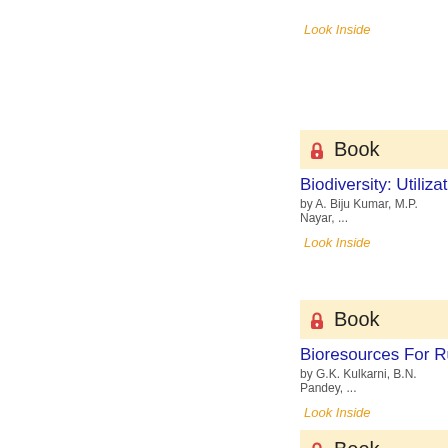Look Inside
Book
Biodiversity: Utilizatio
by A. Biju Kumar, M.P. Nayar, ...
Look Inside
Book
Bioresources For Rural
by G.K. Kulkarni, B.N. Pandey, ...
Look Inside
Book
Environment And Biod
by Neelima Gunta, D.K. Gupta, ...